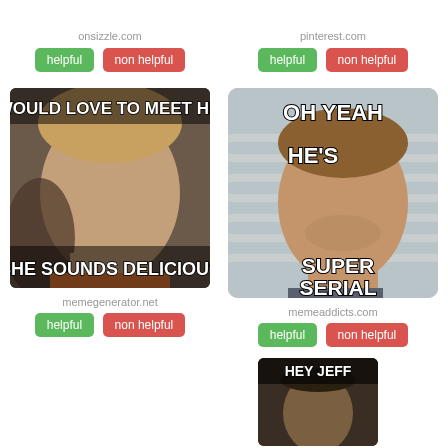onsizzle.com
helpful   non helpful
[Figure (photo): Meme image with text 'I WOULD LOVE TO MEET HER' and 'SHE SOUNDS DELICIOUS' over a photo of a man]
memegenerator.net
helpful   non helpful
pinterest.com
helpful   non helpful
[Figure (photo): Meme image with text 'OH YEAH HE'S SUPER SERIAL' over a photo of a man in a mugshot style]
memeaddicts.com
helpful   non helpful
[Figure (photo): Partial meme image at bottom right showing 'HEY JEFF' text]